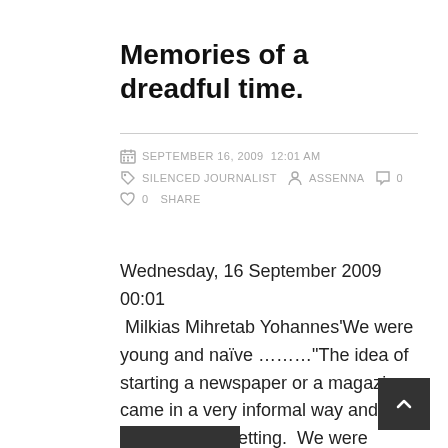Memories of a dreadful time.
SEPTEMBER 16, 2009  12:01 am  SILENCED JOURNALIST  assenna  0  0  SHARE
Wednesday, 16 September 2009 00:01  Milkias Mihretab Yohannes'We were young and naïve ………"The idea of starting a newspaper or a magazine came in a very informal way and rather casual setting.  We were having coffee in downtown Asmara at Bar Bereket with my friend school...